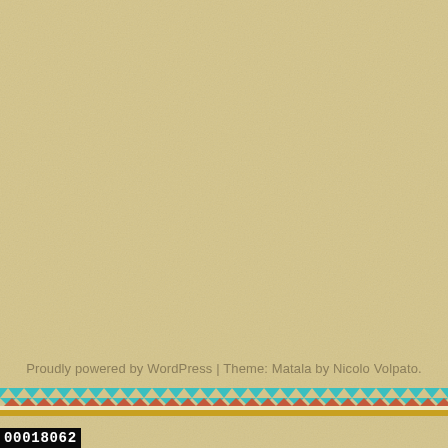Proudly powered by WordPress | Theme: Matala by Nicolo Volpato.
[Figure (illustration): Decorative zigzag/chevron border strip with teal, red/coral, white, and gold/yellow colored geometric pattern]
00018062